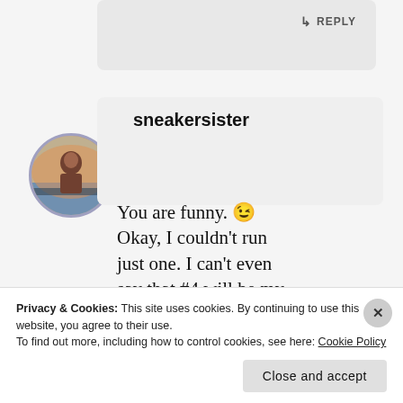[Figure (screenshot): Reply button area - grey bubble with reply arrow icon and REPLY text]
[Figure (photo): Circular avatar photo of a person with sunset/ocean background, bordered with muted purple ring]
sneakersister
You are funny. 😉 Okay, I couldn't run just one. I can't even say that #4 will be my final one. But, I am
Privacy & Cookies: This site uses cookies. By continuing to use this website, you agree to their use.
To find out more, including how to control cookies, see here: Cookie Policy
Close and accept